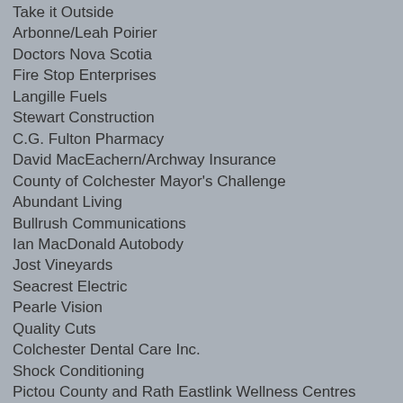Take it Outside
Arbonne/Leah Poirier
Doctors Nova Scotia
Fire Stop Enterprises
Langille Fuels
Stewart Construction
C.G. Fulton Pharmacy
David MacEachern/Archway Insurance
County of Colchester Mayor's Challenge
Abundant Living
Bullrush Communications
Ian MacDonald Autobody
Jost Vineyards
Seacrest Electric
Pearle Vision
Quality Cuts
Colchester Dental Care Inc.
Shock Conditioning
Pictou County and Rath Eastlink Wellness Centres
Kim Paris
Sobeys
Atlantic Super Store